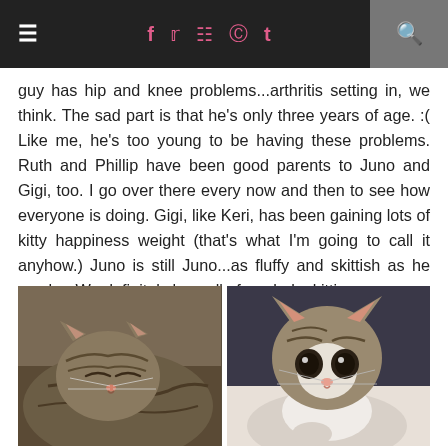≡  f  t  (instagram)  (pinterest)  t  (search)
guy has hip and knee problems...arthritis setting in, we think. The sad part is that he's only three years of age. :( Like me, he's too young to be having these problems. Ruth and Phillip have been good parents to Juno and Gigi, too. I go over there every now and then to see how everyone is doing. Gigi, like Keri, has been gaining lots of kitty happiness weight (that's what I'm going to call it anyhow.) Juno is still Juno...as fluffy and skittish as he can be. We definitely love all of our baby kitties.
[Figure (photo): Two cat photos side by side: left photo shows a tabby cat with eyes closed/sleeping, right photo shows a fluffy tabby-and-white cat looking directly at camera with wide eyes.]